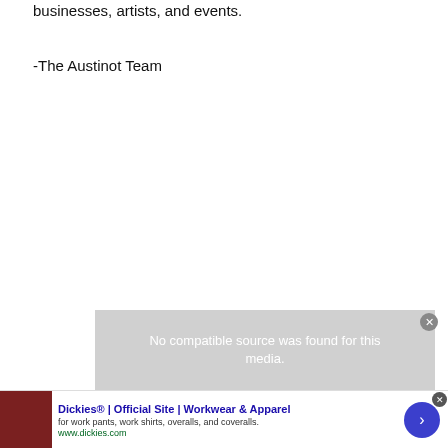businesses, artists, and events.
-The Austinot Team
[Figure (screenshot): Video player overlay with gray background and text 'No compatible source was found for this media.' with a close button (X) in the top right corner.]
[Figure (screenshot): Advertisement banner for Dickies Official Site showing workwear apparel. Contains a product image of dark red/brown clothing, bold heading 'Dickies® | Official Site | Workwear & Apparel', description 'for work pants, work shirts, overalls, and coveralls.', URL 'www.dickies.com', and a blue circular arrow/next button on the right. A close (X) button is visible at top right.]